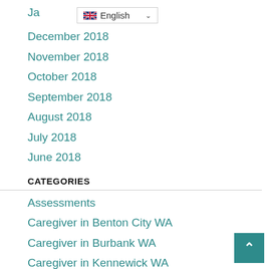Ja… [English dropdown visible]
December 2018
November 2018
October 2018
September 2018
August 2018
July 2018
June 2018
CATEGORIES
Assessments
Caregiver in Benton City WA
Caregiver in Burbank WA
Caregiver in Kennewick WA
Caregiver in Pasco WA
Caregiver in Richland WA
Caregiver in Sunnyside WA
Elder Care in Pasco WA